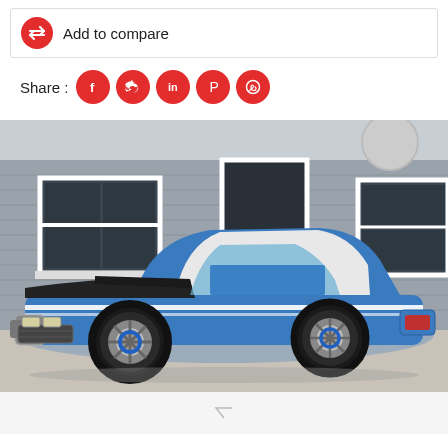Add to compare
Share :
[Figure (photo): Blue classic muscle car (Plymouth GTX convertible style) with white top, black hood stripe, chrome bumpers and custom wheels, parked in front of a grey industrial building with white-framed windows.]